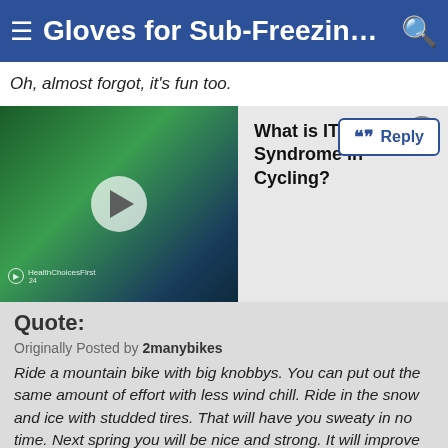Gloves for Sub-Freezing Road ...
Oh, almost forgot, it's fun too.
[Figure (screenshot): Video thumbnail showing a cyclist riding, with a play button overlay and HealthChoicesFirst watermark]
What is IT Band Syndrome In Cycling?
Quote:
Originally Posted by 2manybikes
Ride a mountain bike with big knobbys. You can put out the same amount of effort with less wind chill. Ride in the snow and ice with studded tires. That will have you sweaty in no time. Next spring you will be nice and strong. It will improve your handling skills on the road bike.

Oh, almost forgot, it's fun too.